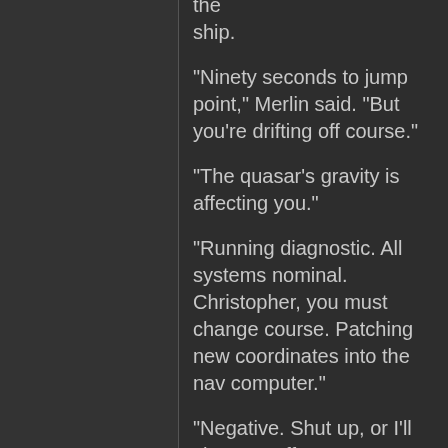the ship.
"Ninety seconds to jump point," Merlin said. "But you're drifting off course."
"The quasar's gravity is affecting you."
"Running diagnostic. All systems nominal. Christopher, you must change course. Patching new coordinates into the nav computer."
"Negative. Shut up, or I'll shut you off."